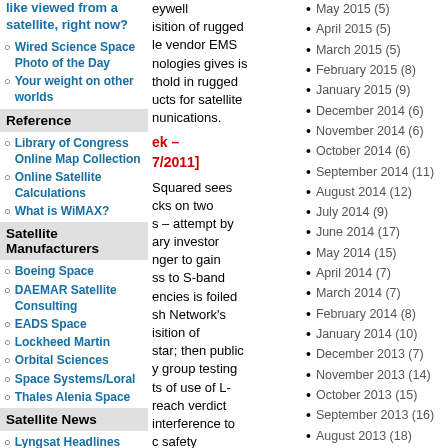like viewed from a satellite, right now?
Wired Science Space Photo of the Day
Your weight on other worlds
Reference
Library of Congress Online Map Collection
Online Satellite Calculations
What is WiMAX?
Satellite Manufacturers
Boeing Space
DAEMAR Satellite Consulting
EADS Space
Lockheed Martin
Orbital Sciences
Space Systems/Loral
Thales Alenia Space
Satellite News
Lyngsat Headlines
Satellite Markets & Research
Satellite News Digest
Satellite Spotlight
eywell acquisition of rugged le vendor EMS nologies gives is thold in rugged ucts for satellite nunications.
ek – 7/2011]
Squared sees cks on two s – attempt by ary investor nger to gain ss to S-band encies is foiled sh Network's isition of star; then public y group testing ts of use of L- reach verdict interference to c safety ations (using will occur" if
May 2015 (5)
April 2015 (5)
March 2015 (5)
February 2015 (8)
January 2015 (9)
December 2014 (6)
November 2014 (6)
October 2014 (6)
September 2014 (11)
August 2014 (12)
July 2014 (9)
June 2014 (17)
May 2014 (15)
April 2014 (7)
March 2014 (7)
February 2014 (8)
January 2014 (10)
December 2013 (7)
November 2013 (14)
October 2013 (15)
September 2013 (16)
August 2013 (18)
July 2013 (16)
June 2013 (13)
May 2013 (7)
April 2013 (8)
March 2013 (7)
February 2013 (9)
January 2013 (9)
December 2012 (6)
November 2012 (7)
October 2012 (13)